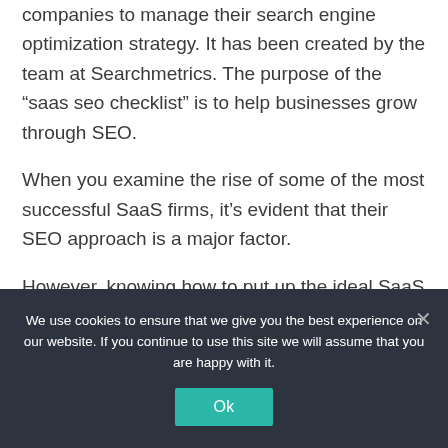companies to manage their search engine optimization strategy. It has been created by the team at Searchmetrics. The purpose of the “saas seo checklist” is to help businesses grow through SEO.
When you examine the rise of some of the most successful SaaS firms, it’s evident that their SEO approach is a major factor.
However, knowing how to put up the ideal SaaS SEO plan, the important areas you’ll need to concentrate on, and how to locate chances to get in front of your target audience is critical.
We use cookies to ensure that we give you the best experience on our website. If you continue to use this site we will assume that you are happy with it.